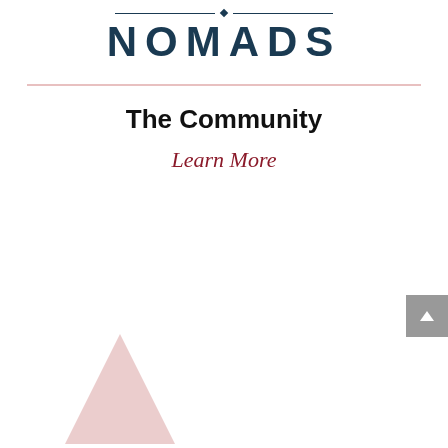[Figure (logo): NOMADS logo with decorative diamond and line accents above the text, dark navy color]
The Community
Learn More
[Figure (illustration): Partial pink/rose triangle shape visible at bottom left corner of page]